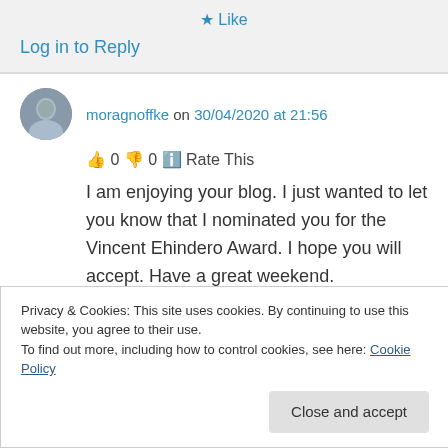★ Like
Log in to Reply
moragnoffke on 30/04/2020 at 21:56
👍 0 👎 0 ℹ Rate This
I am enjoying your blog. I just wanted to let you know that I nominated you for the Vincent Ehindero Award. I hope you will accept. Have a great weekend.
Privacy & Cookies: This site uses cookies. By continuing to use this website, you agree to their use.
To find out more, including how to control cookies, see here: Cookie Policy
Close and accept